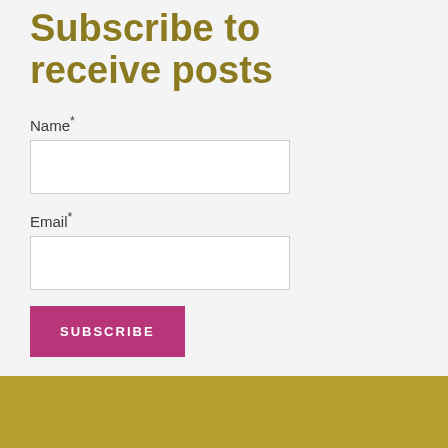Subscribe to receive posts
Name*
Email*
SUBSCRIBE